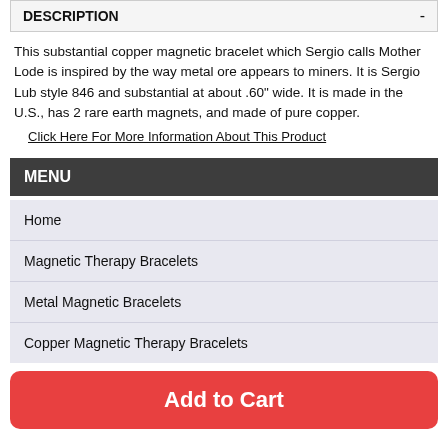DESCRIPTION -
This substantial copper magnetic bracelet which Sergio calls Mother Lode is inspired by the way metal ore appears to miners. It is Sergio Lub style 846 and substantial at about .60" wide. It is made in the U.S., has 2 rare earth magnets, and made of pure copper.
Click Here For More Information About This Product
MENU
Home
Magnetic Therapy Bracelets
Metal Magnetic Bracelets
Copper Magnetic Therapy Bracelets
Add to Cart